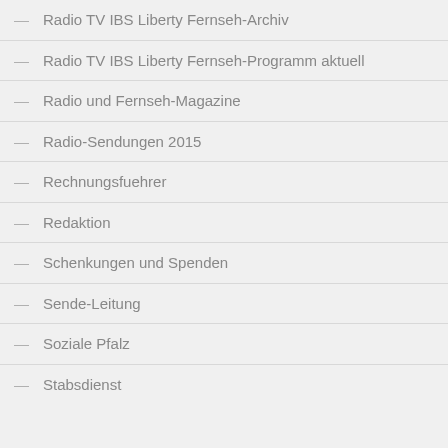Radio TV IBS Liberty Fernseh-Archiv
Radio TV IBS Liberty Fernseh-Programm aktuell
Radio und Fernseh-Magazine
Radio-Sendungen 2015
Rechnungsfuehrer
Redaktion
Schenkungen und Spenden
Sende-Leitung
Soziale Pfalz
Stabsdienst